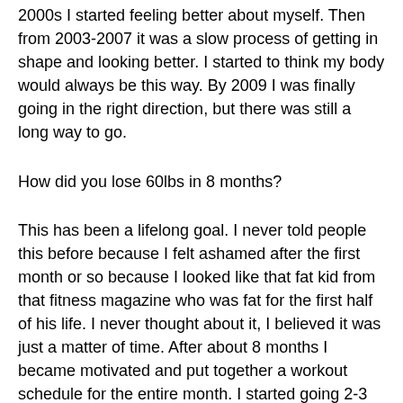2000s I started feeling better about myself. Then from 2003-2007 it was a slow process of getting in shape and looking better. I started to think my body would always be this way. By 2009 I was finally going in the right direction, but there was still a long way to go.
How did you lose 60lbs in 8 months?
This has been a lifelong goal. I never told people this before because I felt ashamed after the first month or so because I looked like that fat kid from that fitness magazine who was fat for the first half of his life. I never thought about it, I believed it was just a matter of time. After about 8 months I became motivated and put together a workout schedule for the entire month. I started going 2-3 hours a day. This worked. By the end of the 8 month period I was